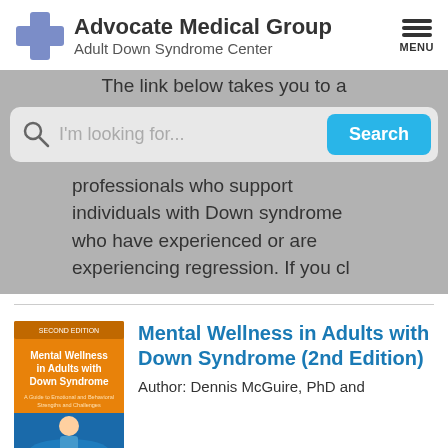[Figure (logo): Advocate Medical Group Adult Down Syndrome Center logo with blue cross icon]
The link below takes you to a
[Figure (screenshot): Search bar with magnifying glass icon, placeholder text 'I'm looking for...' and a blue Search button]
professionals who support individuals with Down syndrome who have experienced or are experiencing regression. If you cl
[Figure (photo): Book cover of 'Mental Wellness in Adults with Down Syndrome' second edition]
Mental Wellness in Adults with Down Syndrome (2nd Edition)
Author: Dennis McGuire, PhD and